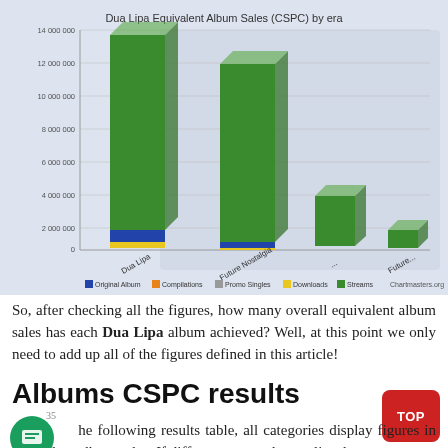[Figure (bar-chart): Stacked bar chart showing Dua Lipa CSPC equivalent album sales by era with legend for Original Album, Compilations, Promo Singles, Downloads, Streams. Source: Chartmasters.org]
So, after checking all the figures, how many overall equivalent album sales has each Dua Lipa album achieved? Well, at this point we only need to add up all of the figures defined in this article!
Albums CSPC results
The following results table, all categories display figures in equivalent album sales. If different, pure sales are listed below...